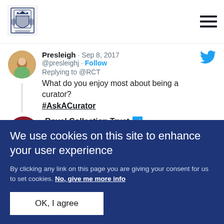[Figure (logo): Royal Collection Trust royal coat of arms logo]
Presleigh · Sep 8, 2017
@presleighj · Follow
Replying to @RCT
What do you enjoy most about being a curator? #AskACurator
Royal Collection Trust @RCT · Follow
Rosie, Prints & Drawings Curator: "I love
We use cookies on this site to enhance your user experience
By clicking any link on this page you are giving your consent for us to set cookies. No, give me more info
OK, I agree